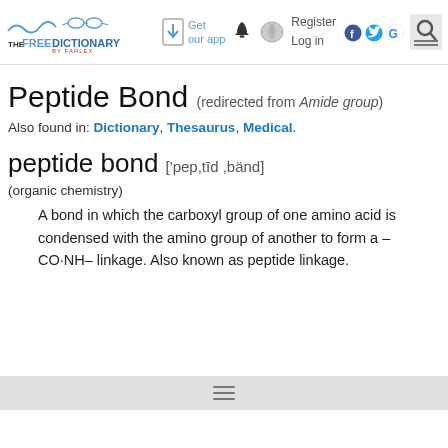TheFreeDictionary by Farlex — Get our app — Register Log in
Peptide Bond (redirected from Amide group)
Also found in: Dictionary, Thesaurus, Medical.
peptide bond ['pep,tīd ,bänd]
(organic chemistry)
A bond in which the carboxyl group of one amino acid is condensed with the amino group of another to form a –CO·NH– linkage. Also known as peptide linkage.